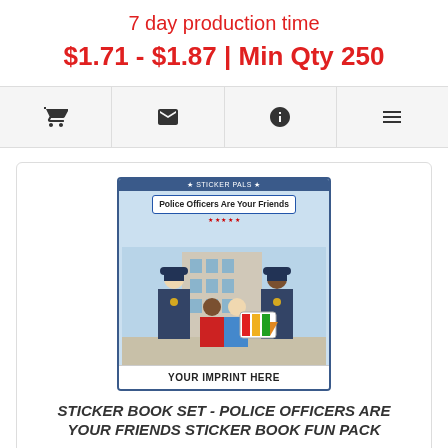7 day production time
$1.71 - $1.87 | Min Qty 250
[Figure (screenshot): Icon bar with shopping cart, email, info, and list icons]
[Figure (photo): Sticker Book Set - Police Officers Are Your Friends product image showing a comic-style book cover with two police officers and two children, with YOUR IMPRINT HERE text at bottom]
STICKER BOOK SET - POLICE OFFICERS ARE YOUR FRIENDS STICKER BOOK FUN PACK
# 1065 -FP Sticker Book Fun Pack Set